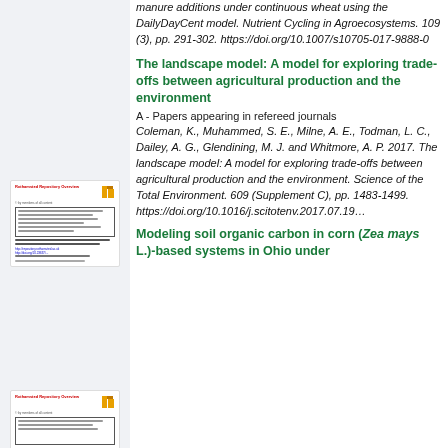manure additions under continuous wheat using the DailyDayCent model. Nutrient Cycling in Agroecosystems. 109 (3), pp. 291-302. https://doi.org/10.1007/s10705-017-9888-0
[Figure (screenshot): Thumbnail of a repository overview document page]
The landscape model: A model for exploring trade-offs between agricultural production and the environment
A - Papers appearing in refereed journals
Coleman, K., Muhammed, S. E., Milne, A. E., Todman, L. C., Dailey, A. G., Glendining, M. J. and Whitmore, A. P. 2017. The landscape model: A model for exploring trade-offs between agricultural production and the environment. Science of the Total Environment. 609 (Supplement C), pp. 1483-1499. https://doi.org/10.1016/j.scitotenv.2017.07.19…
[Figure (screenshot): Thumbnail of a repository overview document page]
Modeling soil organic carbon in corn (Zea mays L.)-based systems in Ohio under